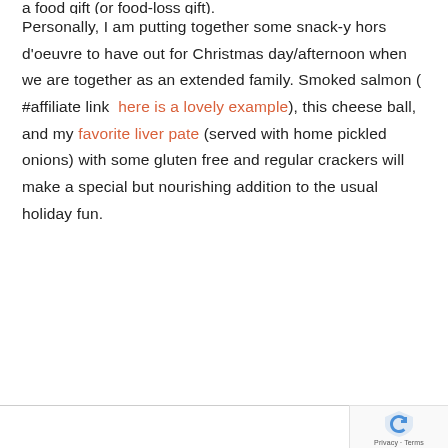a food gift (or food-loss gift).
Personally, I am putting together some snack-y hors d'oeuvre to have out for Christmas day/afternoon when we are together as an extended family. Smoked salmon ( #affiliate link  here is a lovely example), this cheese ball, and my favorite liver pate (served with home pickled onions) with some gluten free and regular crackers will make a special but nourishing addition to the usual holiday fun.
[Figure (logo): reCAPTCHA logo with shield icon in blue. Text below reads 'Privacy · Terms'.]